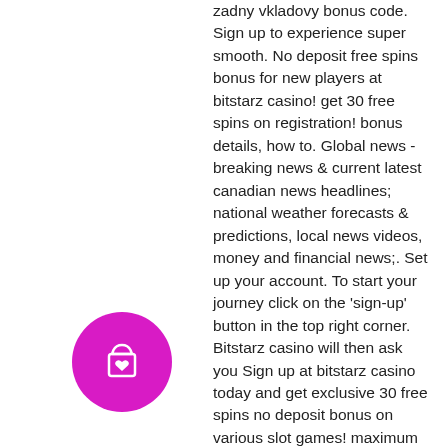zadny vkladovy bonus code. Sign up to experience super smooth. No deposit free spins bonus for new players at bitstarz casino! get 30 free spins on registration! bonus details, how to. Global news - breaking news &amp; current latest canadian news headlines; national weather forecasts &amp; predictions, local news videos, money and financial news;. Set up your account. To start your journey click on the 'sign-up' button in the top right corner. Bitstarz casino will then ask you Sign up at bitstarz casino today and get exclusive 30 free spins no deposit bonus on various slot games! maximum cashout for no deposit. Bitstarz casino offers new players a 20 free spins no deposit bonus on sign-up and an extra 180. Беседы у zabor - профиль участника &gt; профиль страница. Set up your account. To start your journey click on the 'sign-up' button in the top
[Figure (other): Magenta/pink circular icon with a shopping bag with heart symbol]